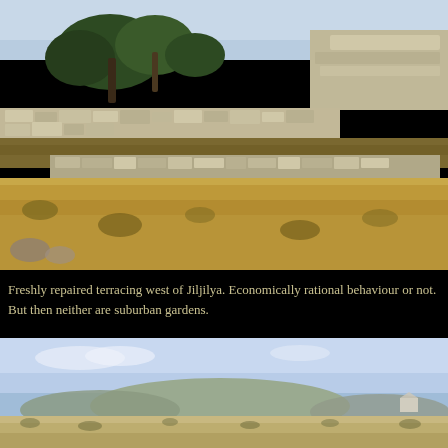[Figure (photo): Photograph of freshly repaired stone terracing west of Jiljilya. Shows multiple levels of dry-stone retaining walls with olive trees growing above them, and dry scrubby vegetation on the terraced hillside in the foreground.]
Freshly repaired terracing west of Jiljilya. Economically rational behaviour or not. But then neither are suburban gardens.
[Figure (photo): Photograph of an open semi-arid landscape showing a broad flat plain with scattered low scrub vegetation, a rounded hill in the middle distance under a blue sky with light clouds.]